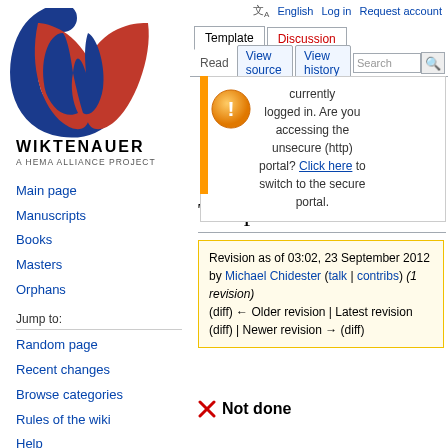[Figure (logo): Wiktenauer logo: red and blue W letterform with serif style]
WIKTENAUER
A HEMA ALLIANCE PROJECT
Main page
Manuscripts
Books
Masters
Orphans
Jump to:
Random page
Recent changes
Browse categories
Rules of the wiki
Help
Community:
English  Log in  Request account
Template  Discussion  Read  View source  View history
currently logged in. Are you accessing the unsecure (http) portal? Click here to switch to the secure portal.
Template:Not done-t
Revision as of 03:02, 23 September 2012 by Michael Chidester (talk | contribs) (1 revision)
(diff) ← Older revision | Latest revision (diff) | Newer revision → (diff)
✗  Not done